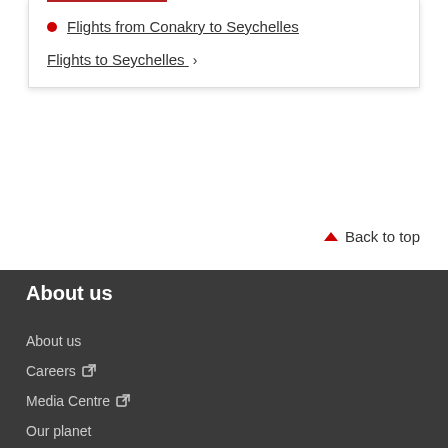Flights from Conakry to Seychelles
Flights to Seychelles >
Back to top
About us
About us
Careers
Media Centre
Our planet
Our people
Our communities